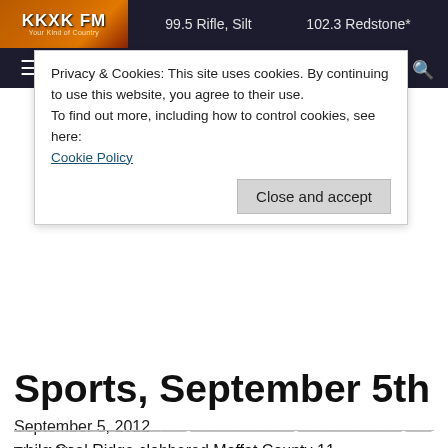KKXK FM  99.5 Rifle, Silt  102.3 Redstone*
Privacy & Cookies: This site uses cookies. By continuing to use this website, you agree to their use.
To find out more, including how to control cookies, see here:
Cookie Policy
Close and accept
Sports, September 5th
September 5, 2012
Ron Milhorn
HIGH SCHOOL SOCCER
——————— —————— ———————— ———— — —— —
while Coal Ridge clobbered Moffat County 11